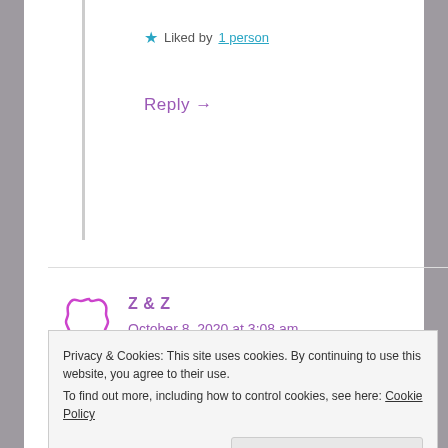★ Liked by 1 person
Reply →
Z & Z
October 8, 2020 at 3:08 am
Very nicely done!
★ Like
Privacy & Cookies: This site uses cookies. By continuing to use this website, you agree to their use. To find out more, including how to control cookies, see here: Cookie Policy
Close and accept